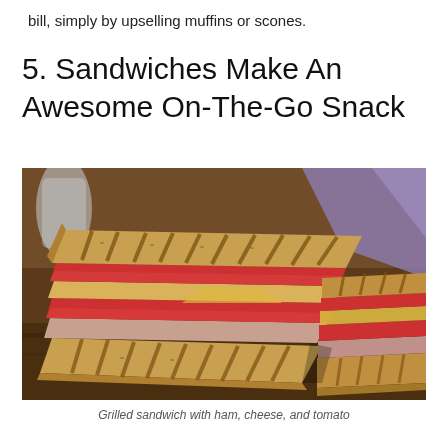bill, simply by upselling muffins or scones.
5. Sandwiches Make An Awesome On-The-Go Snack
[Figure (photo): Close-up photo of two halves of a grilled panini sandwich stacked together, showing grill marks on toasted bread, layers of tomato, melted cheese, and meat filling, on a wooden board with a blurred background showing a glass and purple napkin.]
Grilled sandwich with ham, cheese, and tomato